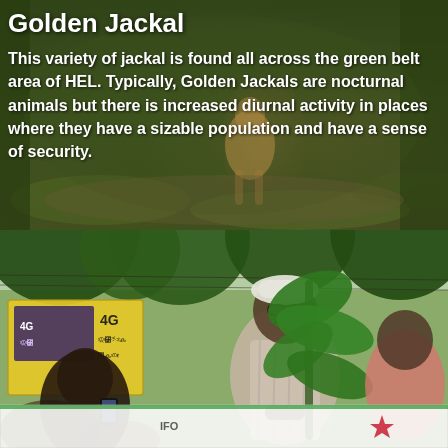[Figure (photo): A golden jackal walking along a forest path surrounded by green foliage and leaf-covered ground]
Golden Jackal
This variety of jackal is found all across the green belt area of HEL. Typically, Golden Jackals are nocturnal animals but there is increased diurnal activity in places where they have a sizable population and have a sense of security.
[Figure (photo): An outdoor scene with people at what appears to be a community or environmental event. A man in a white cap and striped shirt stands on a platform, another person in the foreground holds a phone, and a third person in a pink shirt is visible on the right. Green plant leaves and trees are in the background, along with a white banner and a 4G advertisement sign.]